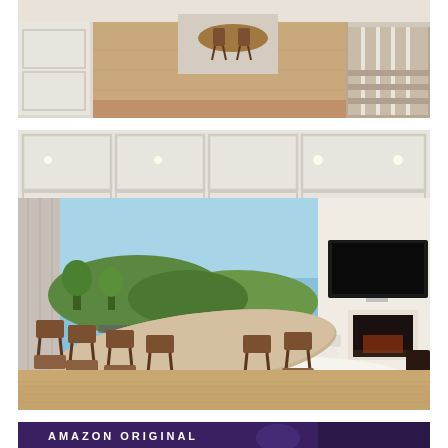[Figure (photo): Interior photo of a modern home hallway/dining area with light hardwood floors, white cabinetry, a round dining table with wooden chairs, and a staircase with white railings on the right side.]
[Figure (photo): Interior photo of a luxurious open-plan living and dining room with coffered white ceiling, large floor-to-ceiling windows/sliding doors opening to an outdoor patio with panoramic views, a large oval dining table with mid-century modern wooden chairs, a white sectional sofa, a flat-screen TV mounted above a fireplace, and light hardwood floors.]
[Figure (photo): Partial view of an Amazon Original advertisement/banner with purple background and text 'AMAZON ORIGINAL' in white letters.]